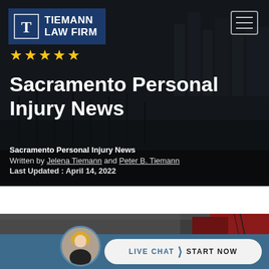[Figure (screenshot): Tiemann Law Firm website header with dark background showing a city/landscape scene. Contains firm logo, five gold stars, navigation hamburger menu, page title, and article metadata.]
Sacramento Personal Injury News
Sacramento Personal Injury News
Written by Jelena Tiemann and Peter B. Tiemann
Last Updated : April 14, 2022
[Figure (photo): Partial view of a car, dark with red accents, bottom portion of webpage. Live chat bar with avatar photo of a blonde woman, and a button reading LIVE CHAT > START NOW.]